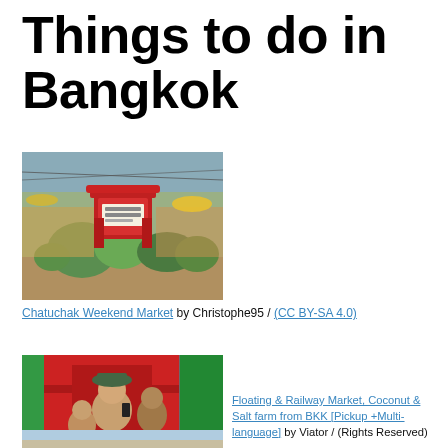Things to do in Bangkok
[Figure (photo): Outdoor market with a red decorative gate/arch, tropical plants, vendors and stalls visible in background]
Chatuchak Weekend Market by Christophe95 / (CC BY-SA 4.0)
[Figure (photo): People leaning out of a red train car window, crowded train scene]
Floating & Railway Market, Coconut & Salt farm from BKK [Pickup +Multi-language] by Viator / (Rights Reserved)
[Figure (photo): Partial view of a beach or waterfront scene, partially cut off at bottom of page]